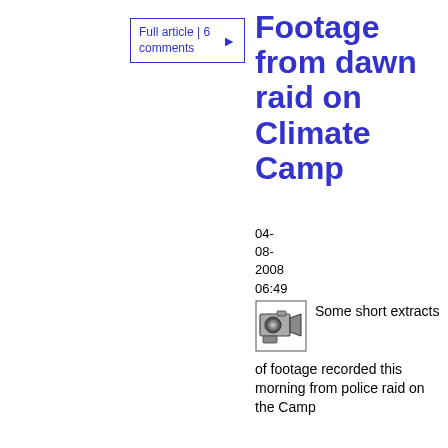Full article | 6 comments
Footage from dawn raid on Climate Camp
04-08-2008 06:49
[Figure (photo): Video camera icon]
Some short extracts of footage recorded this morning from police raid on the Camp